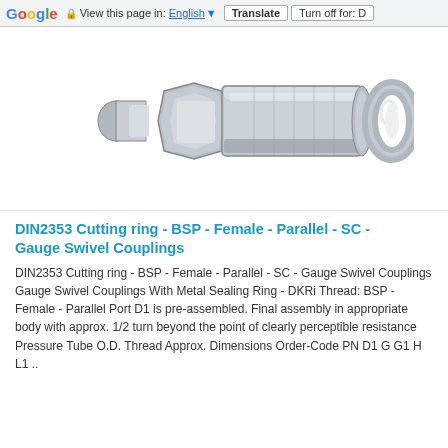Google  View this page in: English [▼]  Translate  Turn off for: D
[Figure (photo): Photograph of a DIN2353 cutting ring BSP female parallel SC gauge swivel coupling — stainless steel fitting with hexagonal body and a separate metal sealing ring shown to the right]
DIN2353 Cutting ring - BSP - Female - Parallel - SC - Gauge Swivel Couplings
DIN2353 Cutting ring - BSP - Female - Parallel - SC - Gauge Swivel Couplings Gauge Swivel Couplings With Metal Sealing Ring - DKRi Thread: BSP - Female - Parallel Port D1 is pre-assembled. Final assembly in appropriate body with approx. 1/2 turn beyond the point of clearly perceptible resistance Pressure Tube O.D. Thread Approx. Dimensions Order-Code PN D1 G G1 H L1 ..